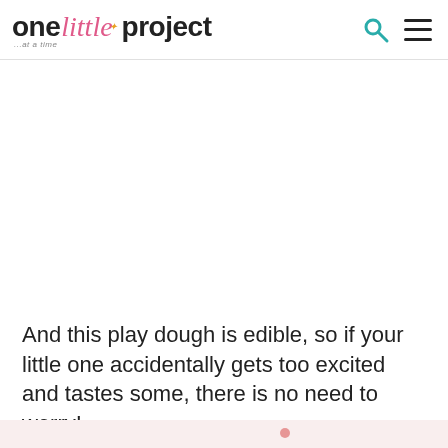one little project ...at a time
And this play dough is edible, so if your little one accidentally gets too excited and tastes some, there is no need to worry!
[Figure (photo): Bottom portion of a photograph showing pink play dough on a light background]